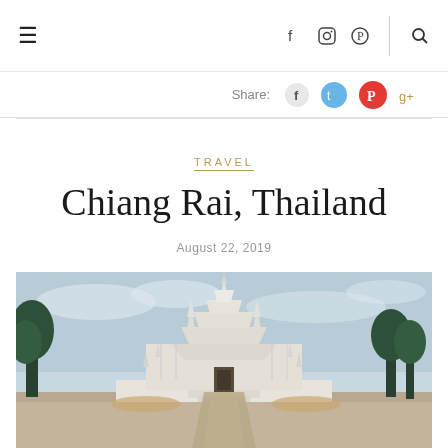Navigation bar with hamburger menu, social icons (facebook, instagram, pinterest), divider, search icon
Share: [facebook] [twitter] [pinterest] [google+]
TRAVEL
Chiang Rai, Thailand
August 22, 2019
[Figure (photo): White Temple (Wat Rong Khun) in Chiang Rai, Thailand — an ornate white and mirrored temple complex with a central spire, flanked by decorative sculptures and trees, against a pale blue sky. Pathway leads to the entrance.]